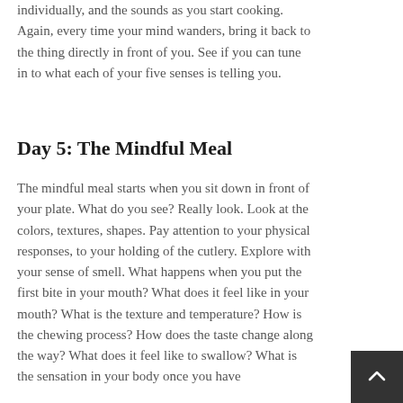individually, and the sounds as you start cooking. Again, every time your mind wanders, bring it back to the thing directly in front of you. See if you can tune in to what each of your five senses is telling you.
Day 5: The Mindful Meal
The mindful meal starts when you sit down in front of your plate. What do you see? Really look. Look at the colors, textures, shapes. Pay attention to your physical responses, to your holding of the cutlery. Explore with your sense of smell. What happens when you put the first bite in your mouth? What does it feel like in your mouth? What is the texture and temperature? How is the chewing process? How does the taste change along the way? What does it feel like to swallow? What is the sensation in your body once you have